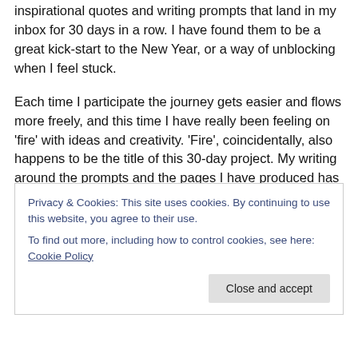inspirational quotes and writing prompts that land in my inbox for 30 days in a row. I have found them to be a great kick-start to the New Year, or a way of unblocking when I feel stuck.
Each time I participate the journey gets easier and flows more freely, and this time I have really been feeling on ‘fire’ with ideas and creativity. ‘Fire’, coincidentally, also happens to be the title of this 30-day project. My writing around the prompts and the pages I have produced has been posted on the group Facebook page, but I thought it would be good to document some of the more thought
Privacy & Cookies: This site uses cookies. By continuing to use this website, you agree to their use.
To find out more, including how to control cookies, see here: Cookie Policy